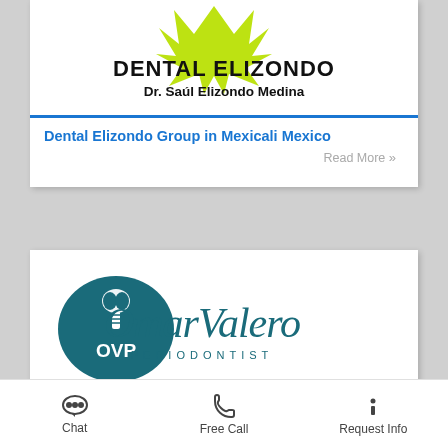[Figure (logo): Dental Elizondo logo with green star shape and text: DENTAL ELIZONDO, Dr. Saúl Elizondo Medina]
Dental Elizondo Group in Mexicali Mexico
Read More »
[Figure (logo): Omar Valero Periodontist logo: teal oval with OVP monogram and implant icon, script text OmarValero PERIODONTIST]
Chat   Free Call   Request Info